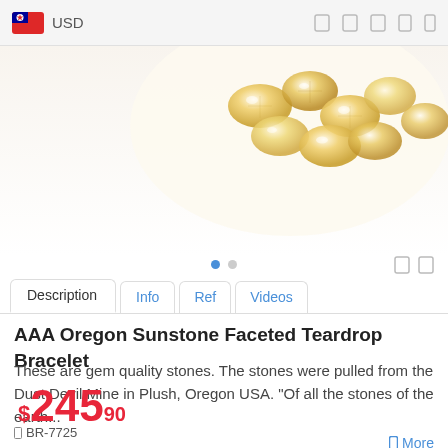USD
[Figure (photo): Close-up photo of golden/amber faceted gemstone beads arranged in a cluster, photographed against a white background.]
Description | Info | Ref | Videos
AAA Oregon Sunstone Faceted Teardrop Bracelet
These are gem quality stones. The stones were pulled from the Dust Devil Mine in Plush, Oregon USA. “Of all the stones of the earth...
$245.90
BR-7725